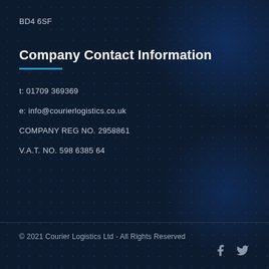BD4 6SF
Company Contact Information
t: 01709 369369
e: info@courierlogistics.co.uk
COMPANY REG NO. 2958861
V.A.T. NO. 598 6385 64
© 2021 Courier Logistics Ltd - All Rights Reserved